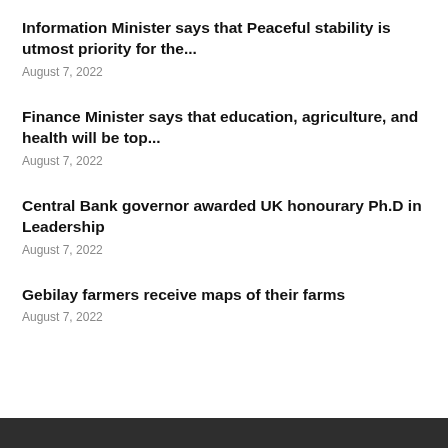Information Minister says that Peaceful stability is utmost priority for the...
August 7, 2022
Finance Minister says that education, agriculture, and health will be top...
August 7, 2022
Central Bank governor awarded UK honourary Ph.D in Leadership
August 7, 2022
Gebilay farmers receive maps of their farms
August 7, 2022